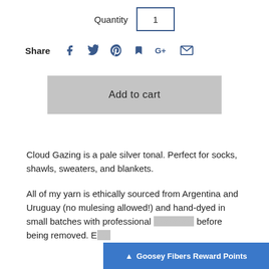Quantity  1
Share
Add to cart
Cloud Gazing is a pale silver tonal. Perfect for socks, shawls, sweaters, and blankets.
All of my yarn is ethically sourced from Argentina and Uruguay (no mulesing allowed!) and hand-dyed in small batches with professional [obscured] before being removed. E[obscured]
Goosey Fibers Reward Points